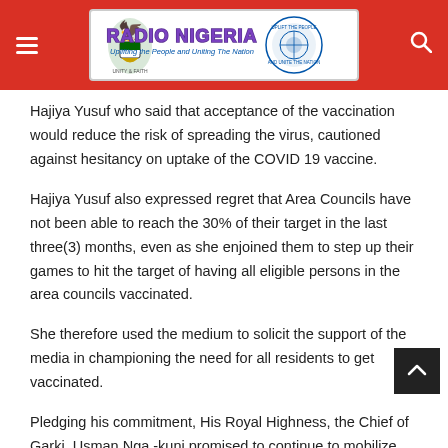Radio Nigeria — Uplifting the People and Uniting The Nation
Hajiya Yusuf who said that acceptance of the vaccination would reduce the risk of spreading the virus, cautioned against hesitancy on uptake of the COVID 19 vaccine.
Hajiya Yusuf also expressed regret that Area Councils have not been able to reach the 30% of their target in the last three(3) months, even as she enjoined them to step up their games to hit the target of having all eligible persons in the area councils vaccinated.
She therefore used the medium to solicit the support of the media in championing the need for all residents to get vaccinated.
Pledging his commitment, His Royal Highness, the Chief of Garki, Usman Nga -kuni promised to continue to mobilize and